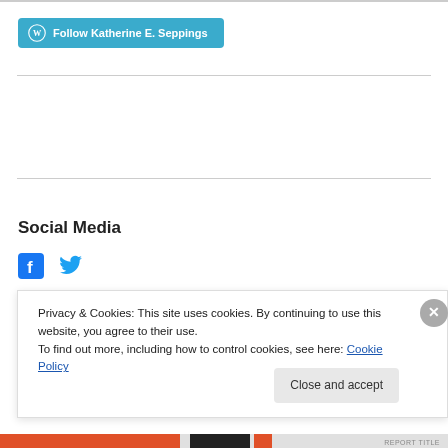[Figure (other): WordPress Follow button with teal/blue background: 'Follow Katherine E. Seppings']
Social Media
[Figure (other): Social media icons: Facebook (f) and Twitter (bird) in blue]
Recent Posts
Privacy & Cookies: This site uses cookies. By continuing to use this website, you agree to their use.
To find out more, including how to control cookies, see here: Cookie Policy
Close and accept